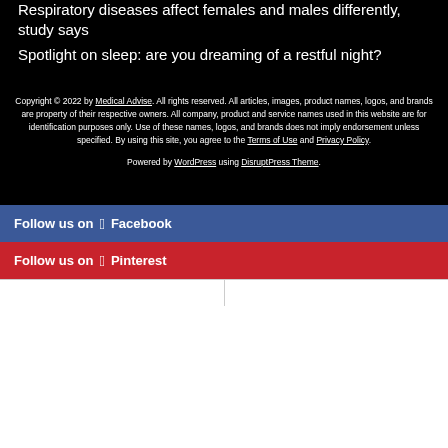Respiratory diseases affect females and males differently, study says
Spotlight on sleep: are you dreaming of a restful night?
Copyright © 2022 by Medical Advise. All rights reserved. All articles, images, product names, logos, and brands are property of their respective owners. All company, product and service names used in this website are for identification purposes only. Use of these names, logos, and brands does not imply endorsement unless specified. By using this site, you agree to the Terms of Use and Privacy Policy.
Powered by WordPress using DisruptPress Theme.
Follow us on Facebook
Follow us on Pinterest